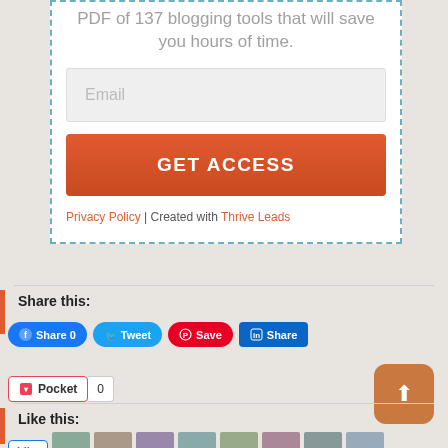PDF of 137 blogging tools that will save you hours of time.
[Figure (screenshot): Email input field with placeholder text 'Email']
[Figure (screenshot): Orange 'GET ACCESS' button]
Privacy Policy | Created with Thrive Leads
Share this:
[Figure (screenshot): Social share buttons: Facebook Share 0, Tweet, Pinterest Save, LinkedIn Share]
[Figure (screenshot): Pocket save button with count 0]
[Figure (screenshot): Orange upload/share button with up arrow]
Like this:
[Figure (screenshot): Like button and user avatar photos row]